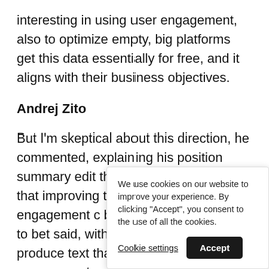interesting in using user engagement, also to optimize empty, big platforms get this data essentially for free, and it aligns with their business objectives.
Andrej Zito
But I'm skeptical about this direction, he commented, explaining his position summary edit that I'm happy to believe that improving the translation qua engagement c believe that op will lead to bet said, with user there is a risk t produce text that maximizes user engagement,
We use cookies on our website to improve your experience. By clicking "Accept", you consent to the use of all the cookies.